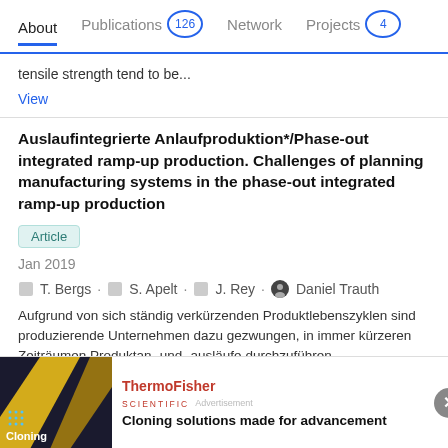About | Publications 126 | Network | Projects 4
tensile strength tend to be...
View
Auslaufintegrierte Anlaufproduktion*/Phase-out integrated ramp-up production. Challenges of planning manufacturing systems in the phase-out integrated ramp-up production
Article
Jan 2019
T. Bergs · S. Apelt · J. Rey · Daniel Trauth
Aufgrund von sich ständig verkürzenden Produktlebenszyklen sind produzierende Unternehmen dazu gezwungen, in immer kürzeren Zeiträumen Produktan- und -ausläufe durchzuführen.
[Figure (screenshot): Advertisement banner for ThermoFisher Scientific: Cloning solutions made for advancement]